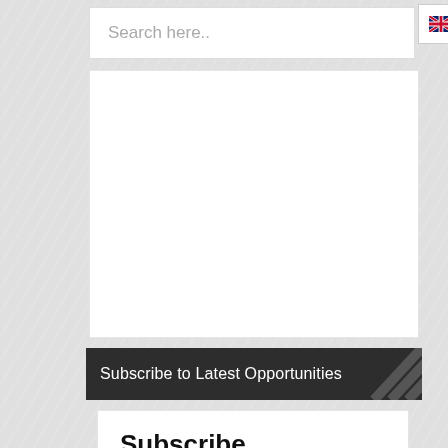Search here..
English
[Figure (other): White rectangular area (advertisement or blank content space)]
Subscribe to Latest Opportunities
Subscribe
Join our growing community of over 100,000 champs today! Follow us on Facebook, Twitter, Instagram, ...